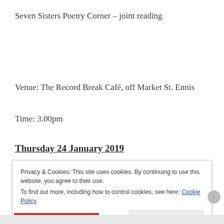Seven Sisters Poetry Corner – joint reading
Venue: The Record Break Café,  off Market St. Ennis
Time: 3.00pm
Thursday 24 January 2019
Privacy & Cookies: This site uses cookies. By continuing to use this website, you agree to their use.
To find out more, including how to control cookies, see here: Cookie Policy
Close and accept